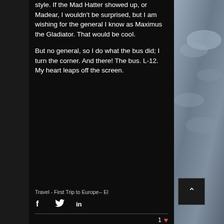style. If the Mad Hatter showed up, or Madear, I wouldn't be surprised, but I am wishing for the general I know as Maximus the Gladiator. That would be cool.
But no general, so I do what the bus did; I turn the corner. And there! The bus. L-12.  My heart leaps off the screen.
Travel - First Trip to Europe-- El